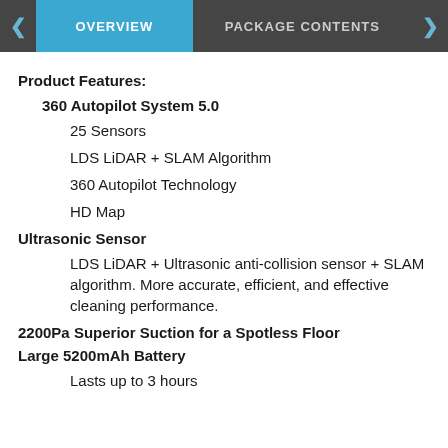OVERVIEW | PACKAGE CONTENTS
Product Features:
360 Autopilot System 5.0
25 Sensors
LDS LiDAR + SLAM Algorithm
360 Autopilot Technology
HD Map
Ultrasonic Sensor
LDS LiDAR + Ultrasonic anti-collision sensor + SLAM algorithm. More accurate, efficient, and effective cleaning performance.
2200Pa Superior Suction for a Spotless Floor
Large 5200mAh Battery
Lasts up to 3 hours